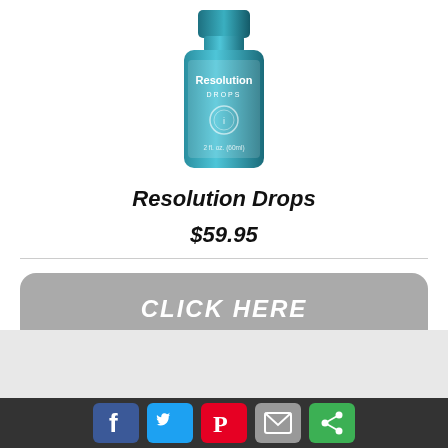[Figure (photo): Product photo of Resolution Drops bottle, a teal/blue liquid supplement bottle with white label text reading 'Resolution DROPS', 2 fl. oz. (60ml)]
Resolution Drops
$59.95
CLICK HERE
[Figure (infographic): Social media share icons row: Facebook (blue), Twitter (light blue), Pinterest (red), Email (grey), More options (green)]